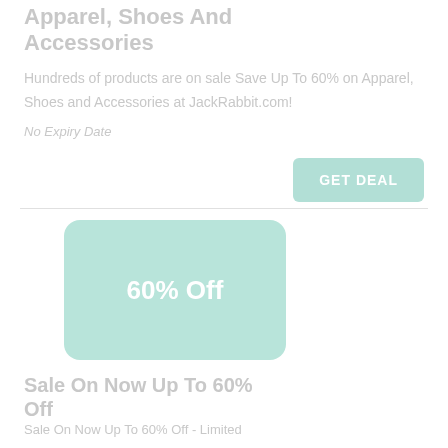Apparel, Shoes And Accessories
Hundreds of products are on sale Save Up To 60% on Apparel, Shoes and Accessories at JackRabbit.com!
No Expiry Date
GET DEAL
[Figure (infographic): Light teal/mint rounded rectangle card with white bold text reading '60% Off' centered in the middle]
Sale On Now Up To 60% Off
Sale On Now Up To 60% Off - Limited